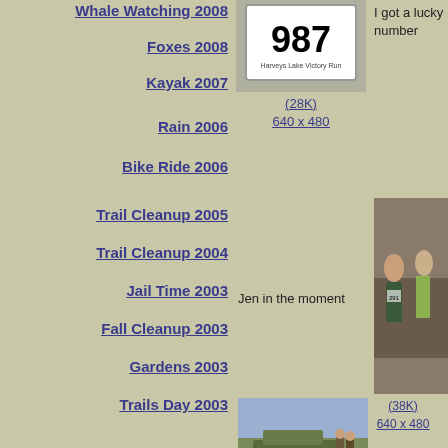Whale Watching 2008
Foxes 2008
Kayak 2007
Rain 2006
Bike Ride 2006
Trail Cleanup 2005
Trail Cleanup 2004
Jail Time 2003
Fall Cleanup 2003
Gardens 2003
Trails Day 2003
Cleanup 2003
Trails Day 2002
[Figure (photo): Race bib number 987 from Harveys Lake Victory Run]
(28K)
640 x 480
I got a lucky number
[Figure (photo): Jen in the moment - woman running in a race]
(38K)
640 x 480
Jen in the moment
[Figure (photo): Military humvee being positioned with soldiers]
(39K)
640 x 480
Positioning the humvee
[Figure (photo): Registration information table with people]
Registration information